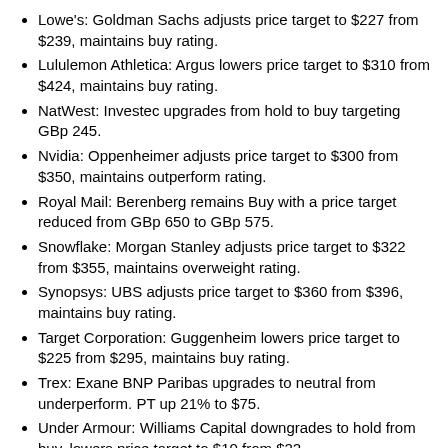Lowe's: Goldman Sachs adjusts price target to $227 from $239, maintains buy rating.
Lululemon Athletica: Argus lowers price target to $310 from $424, maintains buy rating.
NatWest: Investec upgrades from hold to buy targeting GBp 245.
Nvidia: Oppenheimer adjusts price target to $300 from $350, maintains outperform rating.
Royal Mail: Berenberg remains Buy with a price target reduced from GBp 650 to GBp 575.
Snowflake: Morgan Stanley adjusts price target to $322 from $355, maintains overweight rating.
Synopsys: UBS adjusts price target to $360 from $396, maintains buy rating.
Target Corporation: Guggenheim lowers price target to $225 from $295, maintains buy rating.
Trex: Exane BNP Paribas upgrades to neutral from underperform. PT up 21% to $75.
Under Armour: Williams Capital downgrades to hold from buy, lowers price target to $10 from $22.
Zoom Video Communications: Barclays lowers price target to $90